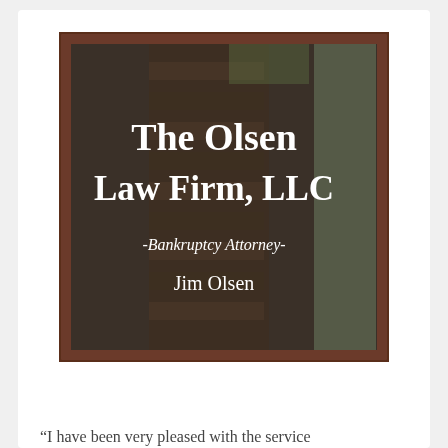[Figure (photo): A glass door or window of The Olsen Law Firm, LLC showing white lettering: 'The Olsen Law Firm, LLC', '-Bankruptcy Attorney-', 'Jim Olsen'. The door has a dark wooden frame and the background shows stone/brick wall.]
“I have been very pleased with the service